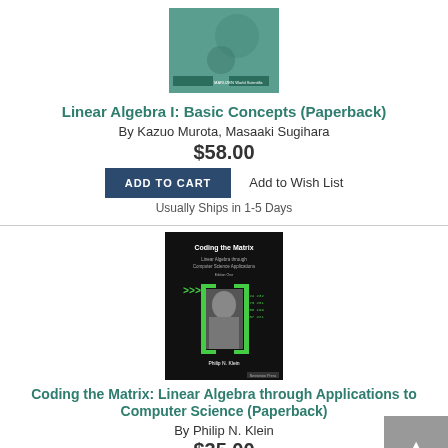[Figure (photo): Book cover for Linear Algebra I: Basic Concepts (Paperback) showing a teal/green cover with publisher logos]
Linear Algebra I: Basic Concepts (Paperback)
By Kazuo Murota, Masaaki Sugihara
$58.00
ADD TO CART
Add to Wish List
Usually Ships in 1-5 Days
[Figure (photo): Book cover for Coding the Matrix: Linear Algebra through Computer Science Applications by Philip N. Klein — black cover with green matrix brackets and a face image]
Coding the Matrix: Linear Algebra through Applications to Computer Science (Paperback)
By Philip N. Klein
$35.00
Add to Wish List